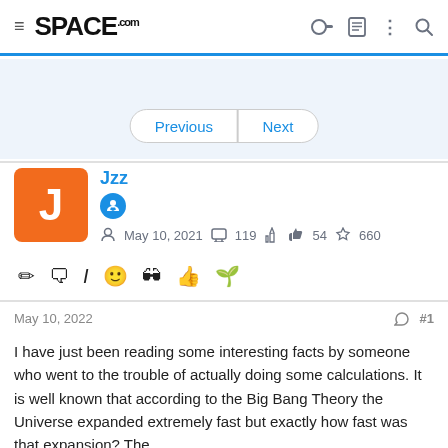SPACE.com
Previous | Next
Jzz
May 10, 2021  119  54  660
May 10, 2022  #1
I have just been reading some interesting facts by someone who went to the trouble of actually doing some calculations. It is well known that according to the Big Bang Theory the Universe expanded extremely fast but exactly how fast was that expansion? The